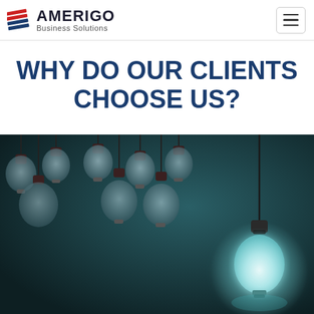AMERIGO Business Solutions
WHY DO OUR CLIENTS CHOOSE US?
[Figure (photo): Dark background photo showing multiple unlit incandescent light bulbs hanging from cords on the left, with one single glowing light bulb on the right hanging separately, symbolizing standing out from the crowd]